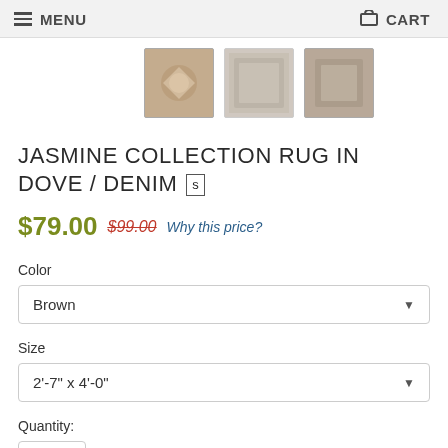MENU   CART
[Figure (photo): Three thumbnail images of rugs in dove/denim color]
JASMINE COLLECTION RUG IN DOVE / DENIM [S]
$79.00  $99.00  Why this price?
Color
Brown (dropdown)
Size
2'-7" x 4'-0" (dropdown)
Quantity:
1